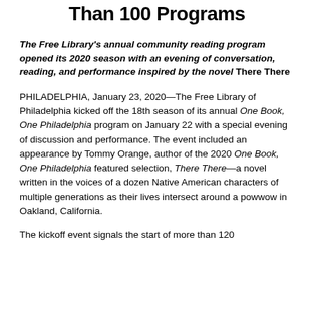Than 100 Programs
The Free Library's annual community reading program opened its 2020 season with an evening of conversation, reading, and performance inspired by the novel There There
PHILADELPHIA, January 23, 2020—The Free Library of Philadelphia kicked off the 18th season of its annual One Book, One Philadelphia program on January 22 with a special evening of discussion and performance. The event included an appearance by Tommy Orange, author of the 2020 One Book, One Philadelphia featured selection, There There—a novel written in the voices of a dozen Native American characters of multiple generations as their lives intersect around a powwow in Oakland, California.
The kickoff event signals the start of more than 120